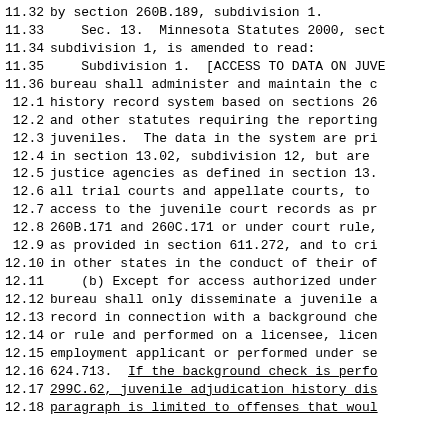11.32   by section 260B.189, subdivision 1.
11.33   Sec. 13.  Minnesota Statutes 2000, sect
11.34   subdivision 1, is amended to read:
11.35   Subdivision 1.  [ACCESS TO DATA ON JUVE
11.36   bureau shall administer and maintain the c
12.1    history record system based on sections 26
12.2    and other statutes requiring the reporting
12.3    juveniles.  The data in the system are pri
12.4    in section 13.02, subdivision 12, but are
12.5    justice agencies as defined in section 13.
12.6    all trial courts and appellate courts, to
12.7    access to the juvenile court records as pr
12.8    260B.171 and 260C.171 or under court rule,
12.9    as provided in section 611.272, and to cri
12.10   in other states in the conduct of their of
12.11   (b) Except for access authorized under
12.12   bureau shall only disseminate a juvenile a
12.13   record in connection with a background che
12.14   or rule and performed on a licensee, licen
12.15   employment applicant or performed under se
12.16   624.713.  If the background check is perfo
12.17   299C.62, juvenile adjudication history dis
12.18   paragraph is limited to offenses that woul